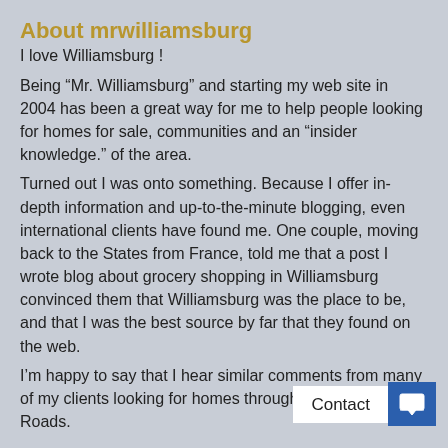About mrwilliamsburg
I love Williamsburg !
Being “Mr. Williamsburg” and starting my web site in 2004 has been a great way for me to help people looking for homes for sale, communities and an “insider knowledge.” of the area.
Turned out I was onto something. Because I offer in-depth information and up-to-the-minute blogging, even international clients have found me. One couple, moving back to the States from France, told me that a post I wrote blog about grocery shopping in Williamsburg convinced them that Williamsburg was the place to be, and that I was the best source by far that they found on the web.
I’m happy to say that I hear similar comments from many of my clients looking for homes through… and Hampton Roads.